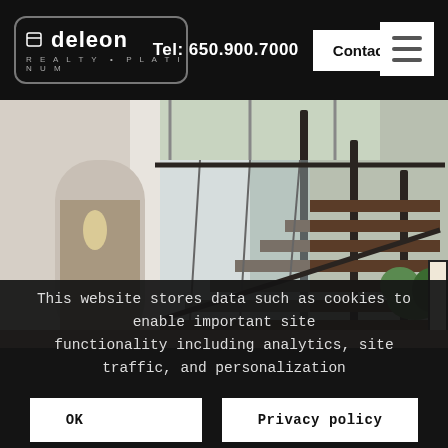Tel: 650.900.7000 | Contact Us
[Figure (logo): DeLeon Realty Platinum logo — white text with square icon and subtitle REALTY·PLATINUM in a rounded rectangle border]
[Figure (photo): Interior photo of a modern home showing a floating staircase with glass railings, white walls, and plants]
This website stores data such as cookies to enable important site functionality including analytics, site traffic, and personalization
OK | Privacy policy